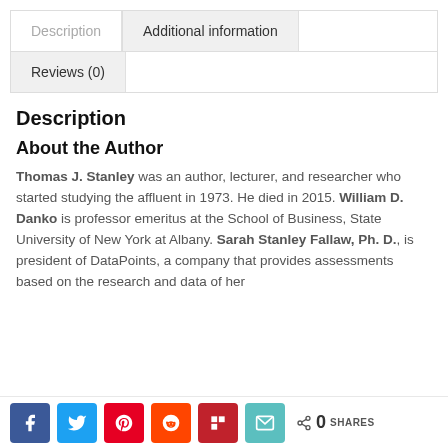Description | Additional information | Reviews (0)
Description
About the Author
Thomas J. Stanley was an author, lecturer, and researcher who started studying the affluent in 1973. He died in 2015. William D. Danko is professor emeritus at the School of Business, State University of New York at Albany. Sarah Stanley Fallaw, Ph. D., is president of DataPoints, a company that provides assessments based on the research and data of her
Share buttons: Facebook, Twitter, Pinterest, Reddit, Flipboard, Email | 0 SHARES